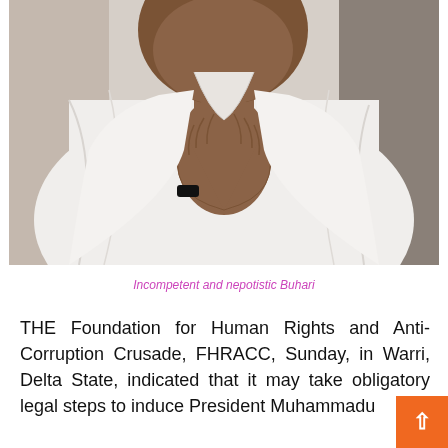[Figure (photo): A person wearing white traditional clothing with hands clasped together in a prayer-like gesture, photographed from the chest up against a light background.]
Incompetent and nepotistic Buhari
THE Foundation for Human Rights and Anti-Corruption Crusade, FHRACC, Sunday, in Warri, Delta State, indicated that it may take obligatory legal steps to induce President Muhammadu